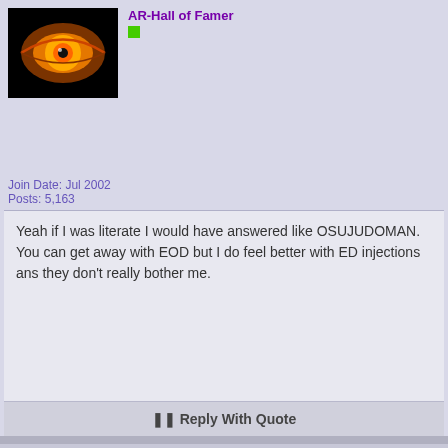AR-Hall of Famer
[Figure (photo): Avatar image showing a glowing orange/yellow eye against black background]
Join Date: Jul 2002
Posts: 5,163
Yeah if I was literate I would have answered like OSUJUDOMAN. You can get away with EOD but I do feel better with ED injections ans they don't really bother me.
Reply With Quote
07-27-2002, 03:53 PM #6
[Figure (photo): Avatar image of a person (movie/TV character) with dark background]
JP1570
Senior Member